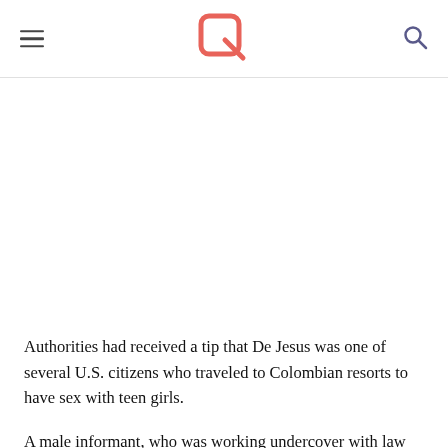[Navigation header with logo]
Authorities had received a tip that De Jesus was one of several U.S. citizens who traveled to Colombian resorts to have sex with teen girls.
A male informant, who was working undercover with law